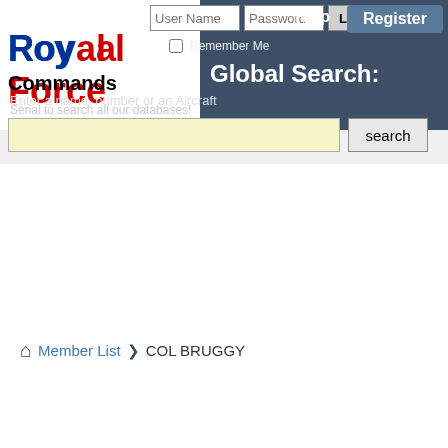[Figure (screenshot): Royal Air Force Commands website header with logo, login form, help and register buttons, and global search bar]
Member List  ❯  COL BRUGGY